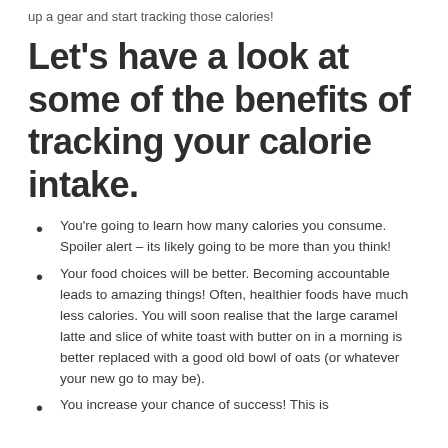up a gear and start tracking those calories!
Let's have a look at some of the benefits of tracking your calorie intake.
You're going to learn how many calories you consume. Spoiler alert – its likely going to be more than you think!
Your food choices will be better. Becoming accountable leads to amazing things! Often, healthier foods have much less calories. You will soon realise that the large caramel latte and slice of white toast with butter on in a morning is better replaced with a good old bowl of oats (or whatever your new go to may be).
You increase your chance of success! This is